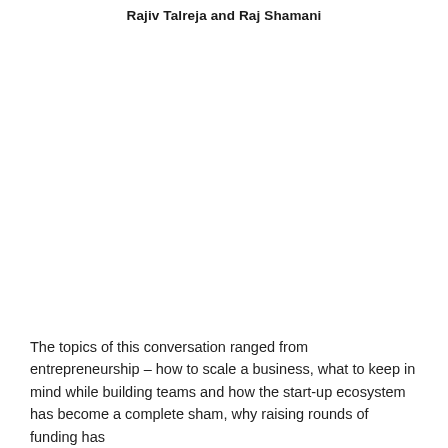Rajiv Talreja and Raj Shamani
The topics of this conversation ranged from entrepreneurship – how to scale a business, what to keep in mind while building teams and how the start-up ecosystem has become a complete sham, why raising rounds of funding has